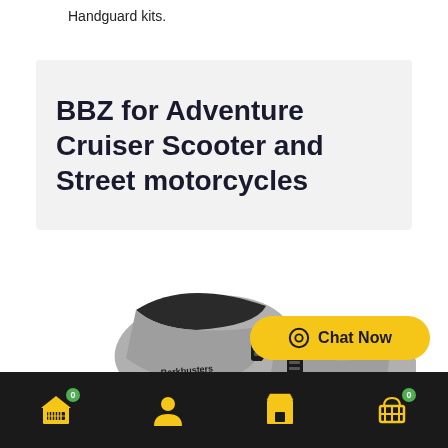Handguard kits.
BBZ for Adventure Cruiser Scooter and Street motorcycles
[Figure (photo): Two motorcycle handguard protectors shown side by side, grey and black design with Barkbusters branding, on white background]
Chat Now
Bottom navigation bar with home, user, store, and cart icons on dark background